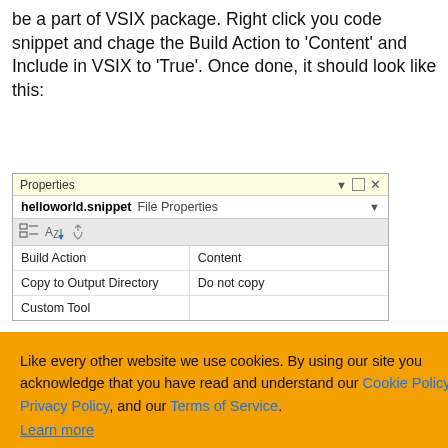be a part of VSIX package. Right click you code snippet and chage the Build Action to 'Content' and Include in VSIX to 'True'. Once done, it should look like this:
[Figure (screenshot): Visual Studio Properties panel showing helloworld.snippet file properties with Build Action set to Content and Copy to Output Directory set to Do not copy]
Like every other website we use cookies. By using our site you acknowledge that you have read and understand our Cookie Policy, Privacy Policy, and our Terms of Service. Learn more [cookie consent banner with Ask me later, Decline, Allow cookies buttons]
You will need to do the same for all the snippets that you